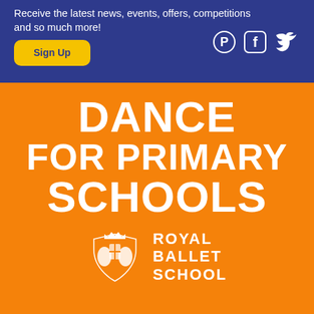Receive the latest news, events, offers, competitions and so much more!
[Figure (infographic): Yellow Sign Up button and Pinterest, Facebook, Twitter social media icons on dark blue background]
DANCE FOR PRIMARY SCHOOLS
[Figure (logo): Royal Ballet School crest logo in white on orange background, with text ROYAL BALLET SCHOOL]